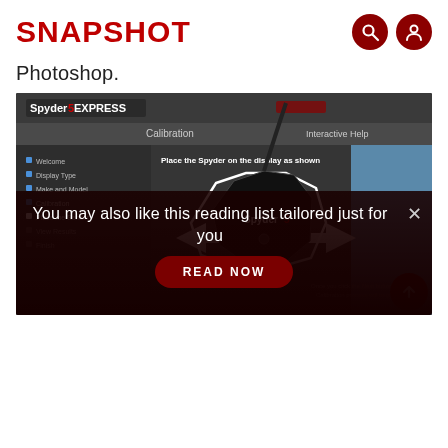SNAPSHOT
Photoshop.
[Figure (screenshot): Screenshot of Spyder5 Express calibration software interface showing a black spider-shaped colorimeter device placed on a monitor display, with calibration steps listed on the left side including Welcome, Display Type, Make and Model, Calibration, Place the Sensor, View Results, Finish. The screen shows 'Place the Spyder on the display as shown' instruction with arrows pointing to placement position.]
You may also like this reading list tailored just for you
READ NOW